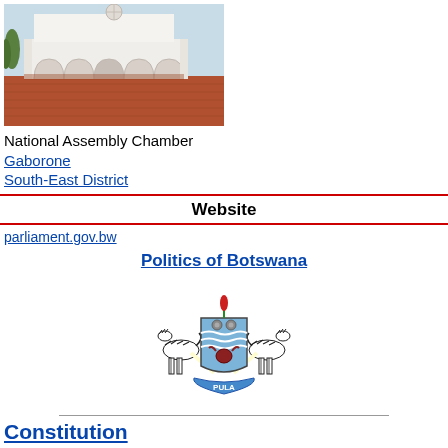[Figure (photo): Photo of National Assembly Chamber building exterior in Gaborone, a white modernist structure with arches and a globe on top, with a brick plaza in front]
National Assembly Chamber
Gaborone
South-East District
Website
parliament.gov.bw
Politics of Botswana
[Figure (illustration): Coat of arms of Botswana featuring two zebras supporting a shield with blue wavy stripes, a bull's head and gear wheels, with a banner reading PULA and a flower on top]
Constitution
Government
President